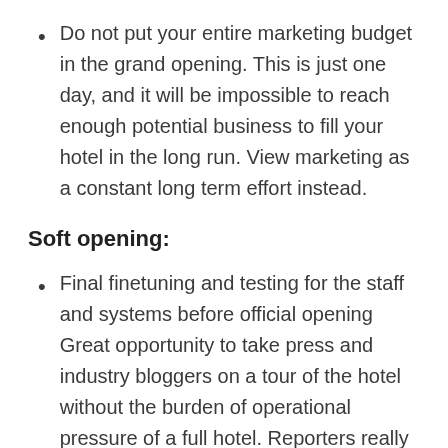Do not put your entire marketing budget in the grand opening. This is just one day, and it will be impossible to reach enough potential business to fill your hotel in the long run. View marketing as a constant long term effort instead.
Soft opening:
Final finetuning and testing for the staff and systems before official opening Great opportunity to take press and industry bloggers on a tour of the hotel without the burden of operational pressure of a full hotel. Reporters really appreciate all the help you can give them with preparing a story on this